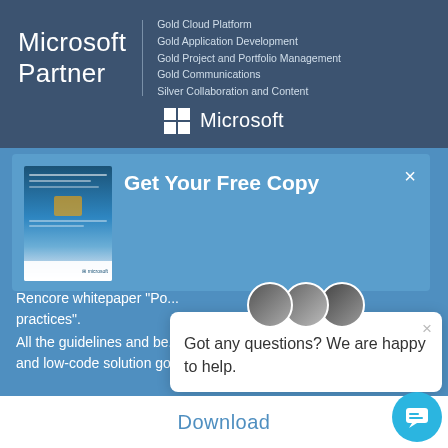[Figure (logo): Microsoft Partner logo with Gold and Silver competencies listed, and Microsoft logo with Windows grid icon below]
Get Your Free Copy
Rencore whitepaper "Po... practices".
All the guidelines and be... implement a no-and low-code solution governance strategy.
Got any questions? We are happy to help.
Download